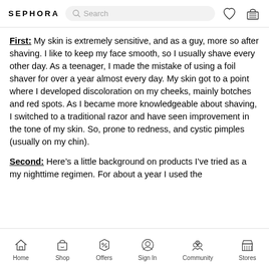SEPHORA
First: My skin is extremely sensitive, and as a guy, more so after shaving. I like to keep my face smooth, so I usually shave every other day. As a teenager, I made the mistake of using a foil shaver for over a year almost every day. My skin got to a point where I developed discoloration on my cheeks, mainly botches and red spots. As I became more knowledgeable about shaving, I switched to a traditional razor and have seen improvement in the tone of my skin. So, prone to redness, and cystic pimples (usually on my chin).
Second: Here’s a little background on products I’ve tried as a my nighttime regimen. For about a year I used the
Home  Shop  Offers  Sign In  Community  Stores